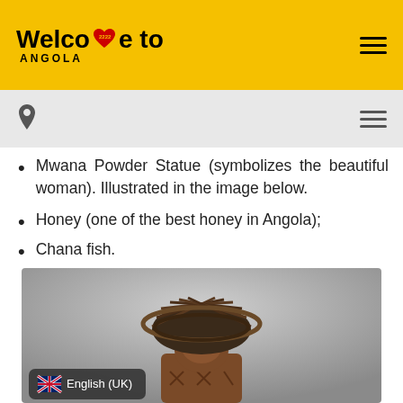Welcome to Angola
Mwana Powder Statue (symbolizes the beautiful woman). Illustrated in the image below.
Honey (one of the best honey in Angola);
Chana fish.
[Figure (photo): Top portion of a Mwana Powder Statue from Angola, showing carved wooden head with elaborate basketwork/woven headdress, photographed against a gray gradient background. An English (UK) language badge appears in the bottom left corner.]